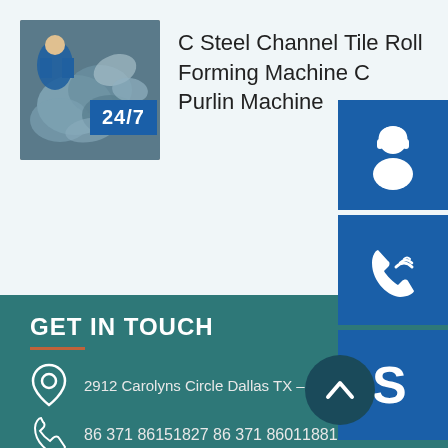C Steel Channel Tile Roll Forming Machine C Purlin Machine
[Figure (photo): Industrial roll forming machine parts/metal components photo]
[Figure (photo): 24/7 customer service panel with headset support icons, phone icon, Skype icon, and female customer service representative photo. Includes 'PROVIDE Empowering Cu...' text and 'online live' button.]
GET IN TOUCH
2912 Carolyns Circle Dallas TX – 7...
86 371 86151827 86 371 86011881